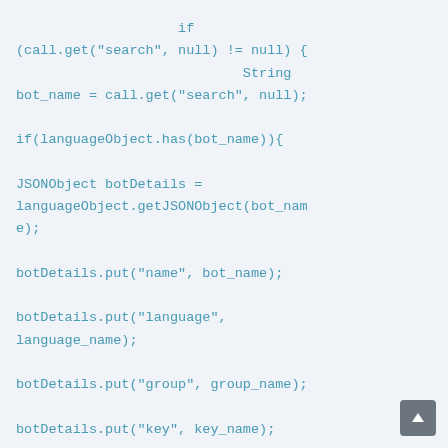if (call.get("search", null) != null {                        String bot_name = call.get("search", null);

if(languageObject.has(bot_name)){

JSONObject botDetails = languageObject.getJSONObject(bot_name);

botDetails.put("name", bot_name);

botDetails.put("language", language_name);

botDetails.put("group", group_name);

botDetails.put("key", key_name);